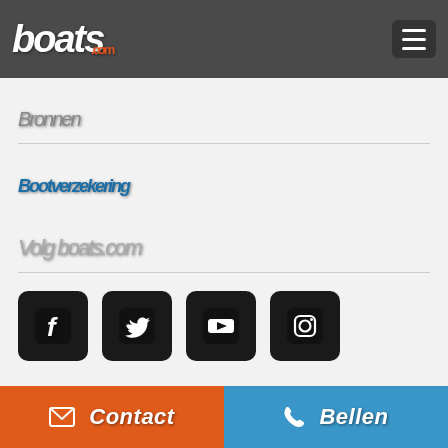boats.com
Bronnen
Bootverzekering
Volg boats.com
[Figure (other): Social media icons: Facebook, Twitter, YouTube, Instagram]
boats.com, Vijzelgracht 53 C, 1017HP Amsterdam, The Netherlands. boats.com is een onderdeel van de Boats Group. Auteursrechten © 1999-2022 Boats Group. Alle rechten voorbehouden.
Contact
Bellen